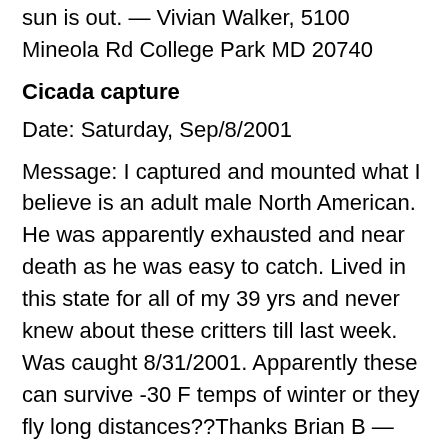sun is out. — Vivian Walker, 5100 Mineola Rd College Park MD 20740
Cicada capture
Date: Saturday, Sep/8/2001
Message: I captured and mounted what I believe is an adult male North American. He was apparently exhausted and near death as he was easy to catch. Lived in this state for all of my 39 yrs and never knew about these critters till last week. Was caught 8/31/2001. Apparently these can survive -30 F temps of winter or they fly long distances??Thanks Brian B — Brian Broughten, Minneapolis, Minnesota USA